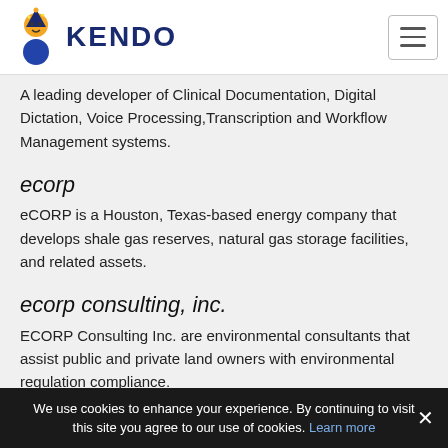KENDO
A leading developer of Clinical Documentation, Digital Dictation, Voice Processing,Transcription and Workflow Management systems.
ecorp
eCORP is a Houston, Texas-based energy company that develops shale gas reserves, natural gas storage facilities, and related assets.
ecorp consulting, inc.
ECORP Consulting Inc. are environmental consultants that assist public and private land owners with environmental regulation compliance.
osi consulting
OSI Consulting is a global provider of modern technology solutions for business.
We use cookies to enhance your experience. By continuing to visit this site you agree to our use of cookies. Learn more